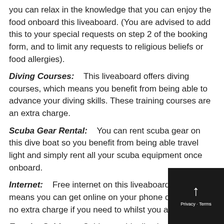you can relax in the knowledge that you can enjoy the food onboard this liveaboard. (You are advised to add this to your special requests on step 2 of the booking form, and to limit any requests to religious beliefs or food allergies).
Diving Courses:    This liveaboard offers diving courses, which means you benefit from being able to advance your diving skills. These training courses are an extra charge.
Scuba Gear Rental:    You can rent scuba gear on this dive boat so you benefit from being able travel light and simply rent all your scuba equipment once onboard.
Internet:    Free internet on this liveaboard, which means you can get online on your phone or laptop for no extra charge if you need to whilst you are away.
Ensuite Cabins:    Cabins on this dive boat benefit from ensuite bathroom so you can shower and get ready in pri... (Check when booking that the cabin you choose has an e...